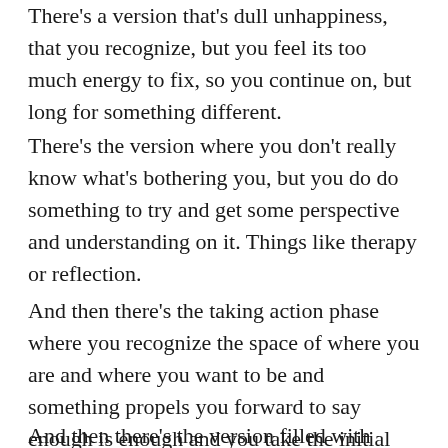There's a version that's dull unhappiness, that you recognize, but you feel its too much energy to fix, so you continue on, but long for something different.
There's the version where you don't really know what's bothering you, but you do do something to try and get some perspective and understanding on it. Things like therapy or reflection.
And then there's the taking action phase where you recognize the space of where you are and where you want to be and something propels you forward to say enough is enough and you take the initial rocky ride to get yourself into a state of action to get things on the inside of you right.
And then there's the version filled with peace, where